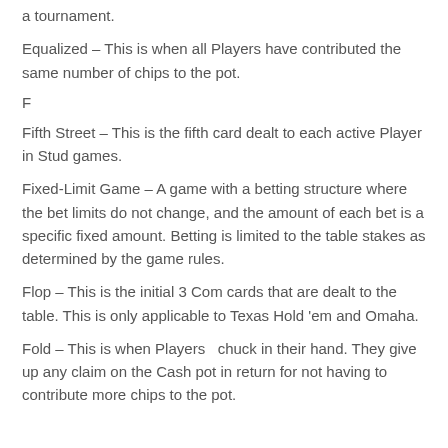a tournament.
Equalized – This is when all Players have contributed the same number of chips to the pot.
F
Fifth Street – This is the fifth card dealt to each active Player in Stud games.
Fixed-Limit Game – A game with a betting structure where the bet limits do not change, and the amount of each bet is a specific fixed amount. Betting is limited to the table stakes as determined by the game rules.
Flop – This is the initial 3 Com cards that are dealt to the table. This is only applicable to Texas Hold 'em and Omaha.
Fold – This is when Players  chuck in their hand. They give up any claim on the Cash pot in return for not having to contribute more chips to the pot.